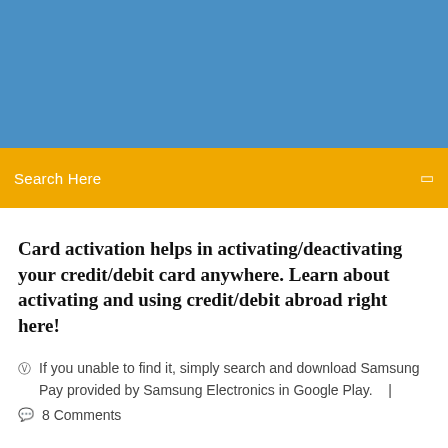[Figure (other): Blue header banner background]
[Figure (other): Orange/yellow search bar with text 'Search Here' and a search icon on the right]
Card activation helps in activating/deactivating your credit/debit card anywhere. Learn about activating and using credit/debit abroad right here!
If you unable to find it, simply search and download Samsung Pay provided by Samsung Electronics in Google Play.   |  8 Comments